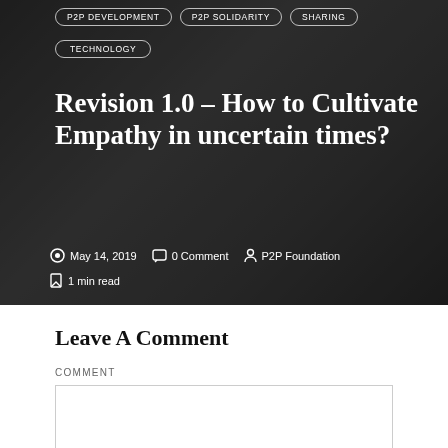[Figure (photo): Dark background hero image of a person at a desk with laptop, overlaid with article metadata. Tags: P2P DEVELOPMENT, P2P SOLIDARITY, SHARING, TECHNOLOGY. Title: Revision 1.0 – How to Cultivate Empathy in uncertain times? Date: May 14, 2019. 0 Comment. P2P Foundation. 1 min read.]
Revision 1.0 – How to Cultivate Empathy in uncertain times?
May 14, 2019   0 Comment   P2P Foundation   1 min read
Leave A Comment
COMMENT